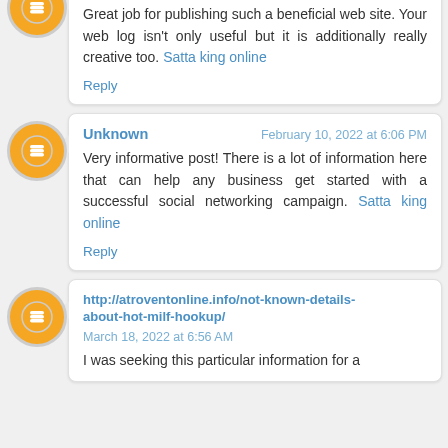Great job for publishing such a beneficial web site. Your web log isn't only useful but it is additionally really creative too. Satta king online
Reply
Unknown — February 10, 2022 at 6:06 PM
Very informative post! There is a lot of information here that can help any business get started with a successful social networking campaign. Satta king online
Reply
http://atroventonline.info/not-known-details-about-hot-milf-hookup/ — March 18, 2022 at 6:56 AM
I was seeking this particular information for a